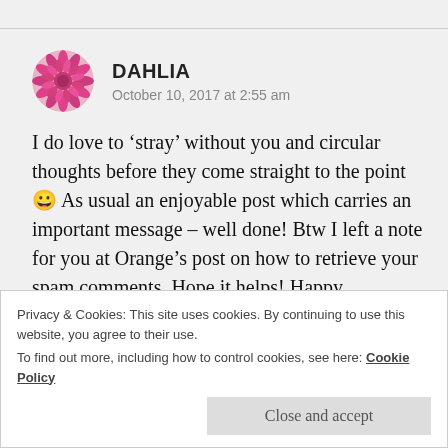[Figure (photo): Circular avatar photo of a pink dahlia flower]
DAHLIA
October 10, 2017 at 2:55 am
I do love to ‘stray’ without you and circular thoughts before they come straight to the point 😀 As usual an enjoyable post which carries an important message – well done! Btw I left a note for you at Orange’s post on how to retrieve your spam comments. Hope it helps! Happy Thanksgiving 🙂
★ Liked by 2 people
Privacy & Cookies: This site uses cookies. By continuing to use this website, you agree to their use.
To find out more, including how to control cookies, see here: Cookie Policy
Close and accept